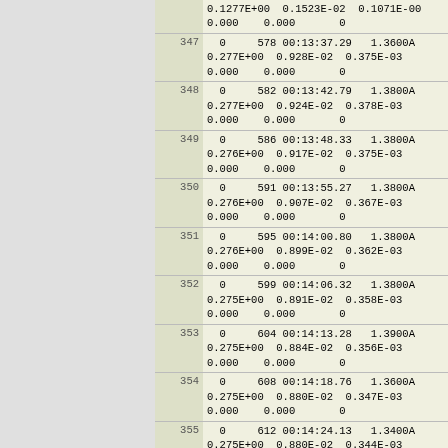| Row | Data |
| --- | --- |
|  | 0.1277E+00  0.1523E-02  0.1071E-00
0.000    0.000       0 |
| 347 | 0     578 00:13:37.29   1.3600A
0.277E+00  0.928E-02  0.375E-03
0.000    0.000       0 |
| 348 | 0     582 00:13:42.79   1.3800A
0.277E+00  0.924E-02  0.378E-03
0.000    0.000       0 |
| 349 | 0     586 00:13:48.33   1.3800A
0.276E+00  0.917E-02  0.375E-03
0.000    0.000       0 |
| 350 | 0     591 00:13:55.27   1.3800A
0.276E+00  0.907E-02  0.367E-03
0.000    0.000       0 |
| 351 | 0     595 00:14:00.80   1.3800A
0.276E+00  0.899E-02  0.362E-03
0.000    0.000       0 |
| 352 | 0     599 00:14:06.32   1.3800A
0.275E+00  0.891E-02  0.358E-03
0.000    0.000       0 |
| 353 | 0     604 00:14:13.28   1.3900A
0.275E+00  0.884E-02  0.356E-03
0.000    0.000       0 |
| 354 | 0     608 00:14:18.76   1.3600A
0.275E+00  0.880E-02  0.347E-03
0.000    0.000       0 |
| 355 | 0     612 00:14:24.13   1.3400A
0.275E+00  0.880E-02  0.344E-03
0.000    0.000       0 |
| 356 | 0     617 00:14:30.94   1.3800A
0.275E+00  0.882E-02  0.362E-03
0.000    0.000       0 |
| 357 | 0     621 00:14:36.51   1.3800A
0.275E+00  0.885E-02  0.365E-03
0.000    0.000       0 |
| 358 | 0     625 00:14:41***   1.3600A |